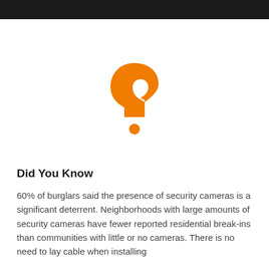[Figure (illustration): Large orange question mark symbol on white background]
Did You Know
60% of burglars said the presence of security cameras is a significant deterrent. Neighborhoods with large amounts of security cameras have fewer reported residential break-ins than communities with little or no cameras. There is no need to lay cable when installing